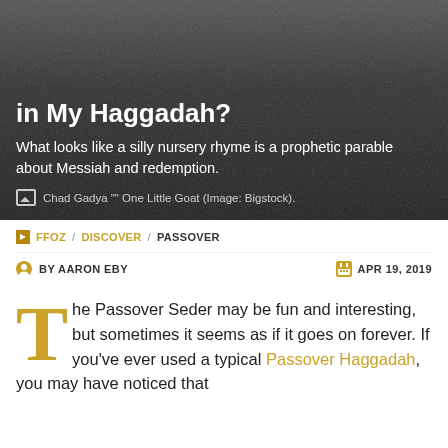[Figure (photo): Dark background photo of what appears to be stone or wood surface, used as hero image behind article title]
in My Haggadah?
What looks like a silly nursery rhyme is a prophetic parable about Messiah and redemption.
Chad Gadya "" One Little Goat (Image: Bigstock).
FFOZ / DISCOVER / PASSOVER
BY AARON EBY   APR 19, 2019
The Passover Seder may be fun and interesting, but sometimes it seems as if it goes on forever. If you've ever used a typical Passover Haggadah, you may have noticed that